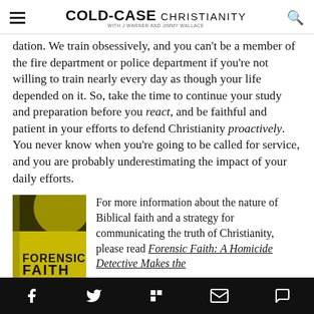COLD-CASE CHRISTIANITY with J Warner and Jimmy Wallace
...member of the fire department or police department if you're not willing to train nearly every day as though your life depended on it. So, take the time to continue your study and preparation before you react, and be faithful and patient in your efforts to defend Christianity proactively. You never know when you're going to be called for service, and you are probably underestimating the impact of your daily efforts.
[Figure (photo): Cover of the book 'Forensic Faith' with yellow cover]
For more information about the nature of Biblical faith and a strategy for communicating the truth of Christianity, please read Forensic Faith: A Homicide Detective Makes the...